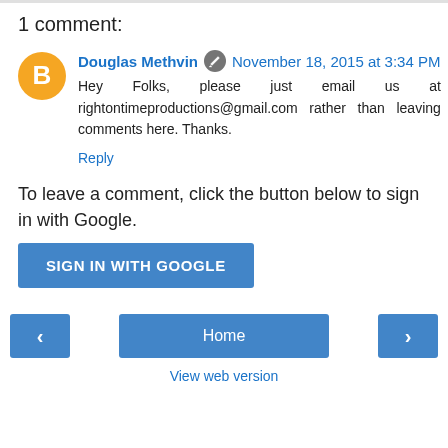1 comment:
Douglas Methvin  November 18, 2015 at 3:34 PM
Hey Folks, please just email us at rightontimeproductions@gmail.com rather than leaving comments here. Thanks.
Reply
To leave a comment, click the button below to sign in with Google.
SIGN IN WITH GOOGLE
Home
View web version